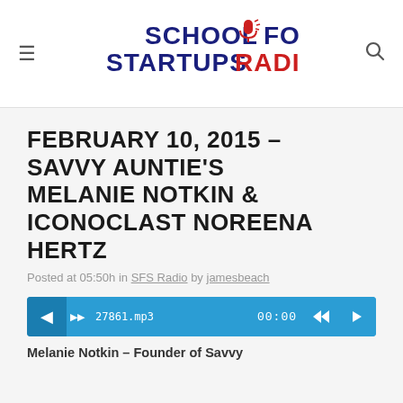[Figure (logo): School for Startups Radio logo with microphone icon, dark blue and red text]
FEBRUARY 10, 2015 – SAVVY AUNTIE'S MELANIE NOTKIN & ICONOCLAST NOREENA HERTZ
Posted at 05:50h in SFS Radio by jamesbeach
[Figure (screenshot): Audio player showing 27861.mp3, time 00:00, with volume, rewind and play controls]
Melanie Notkin – Founder of Savvy